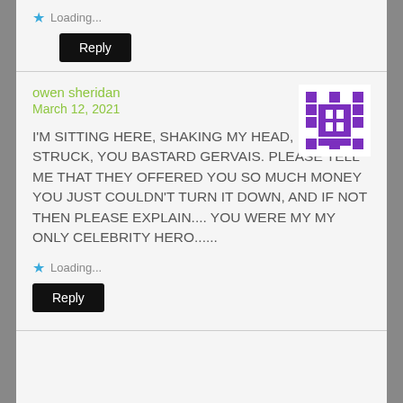Loading...
Reply
owen sheridan
March 12, 2021
[Figure (illustration): Purple pixel art avatar icon]
I'M SITTING HERE, SHAKING MY HEAD, DUMB STRUCK, YOU BASTARD GERVAIS. PLEASE TELL ME THAT THEY OFFERED YOU SO MUCH MONEY YOU JUST COULDN'T TURN IT DOWN, AND IF NOT THEN PLEASE EXPLAIN.... YOU WERE MY MY ONLY CELEBRITY HERO......
Loading...
Reply